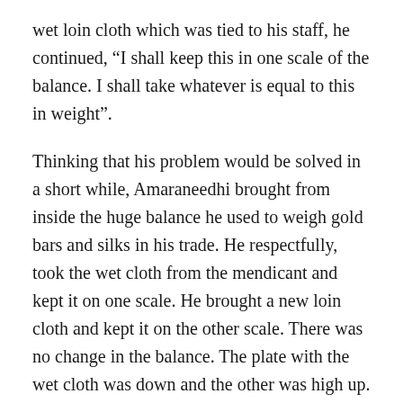wet loin cloth which was tied to his staff, he continued, “I shall keep this in one scale of the balance. I shall take whatever is equal to this in weight”.
Thinking that his problem would be solved in a short while, Amaraneedhi brought from inside the huge balance he used to weigh gold bars and silks in his trade. He respectfully, took the wet cloth from the mendicant and kept it on one scale. He brought a new loin cloth and kept it on the other scale. There was no change in the balance. The plate with the wet cloth was down and the other was high up. Amaraneedhi brought few more cloths and kept them. Hmm… No change.
Puzzled, he went and brought the entire stock of new